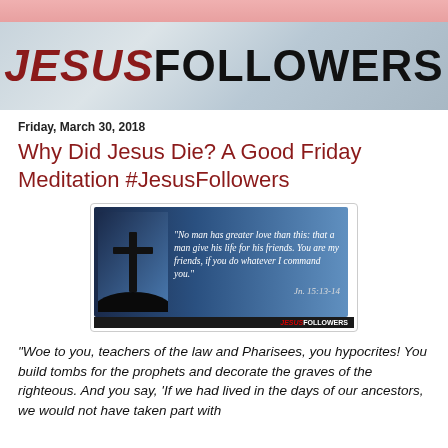[Figure (logo): JesusFollowers website header banner with pink bar on top and 'JESUSFOLLOWERS' text on textured grey background]
Friday, March 30, 2018
Why Did Jesus Die? A Good Friday Meditation #JesusFollowers
[Figure (photo): Image of a cross silhouette against a blue sky with a Bible quote: 'No man has greater love than this: that a man give his life for his friends. You are my friends, if you do whatever I command you.' Jn. 15:13-14]
"Woe to you, teachers of the law and Pharisees, you hypocrites! You build tombs for the prophets and decorate the graves of the righteous. And you say, 'If we had lived in the days of our ancestors, we would not have taken part with